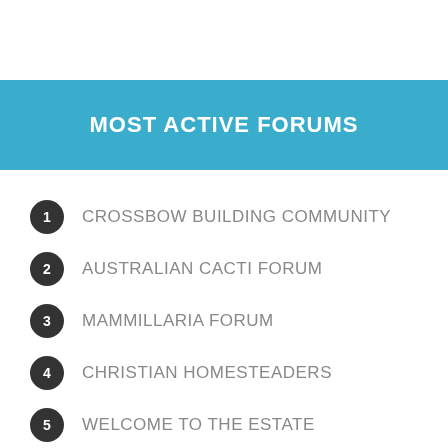MOST ACTIVE FORUMS
1. CROSSBOW BUILDING COMMUNITY
2. AUSTRALIAN CACTI FORUM
3. MAMMILLARIA FORUM
4. CHRISTIAN HOMESTEADERS
5. WELCOME TO THE ESTATE